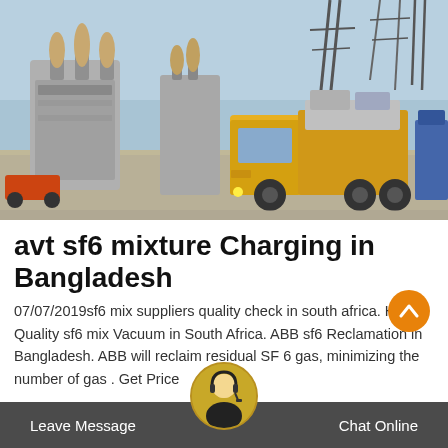[Figure (photo): Electrical substation with large transformer equipment and a yellow utility truck parked nearby, power line towers in background, outdoor industrial setting.]
avt sf6 mixture Charging in Bangladesh
07/07/2019sf6 mix suppliers quality check in south africa. High Quality sf6 mix Vacuum in South Africa. ABB sf6 Reclamation in Bangladesh. ABB will reclaim residual SF 6 gas, minimizing the number of gas . Get Price